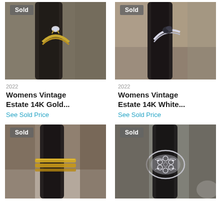[Figure (photo): Photo of a womens vintage estate 14K gold solitaire ring on a dark ring stand, with a 'Sold' badge overlay]
[Figure (photo): Photo of a womens vintage estate 14K white gold ring with dark stones on a dark ring stand, with a 'Sold' badge overlay]
2022
Womens Vintage Estate 14K Gold...
See Sold Price
2022
Womens Vintage Estate 14K White...
See Sold Price
[Figure (photo): Photo of a womens vintage estate gold band ring on a dark ring stand, with a 'Sold' badge overlay]
[Figure (photo): Photo of a vintage ornate filigree silver ring on a dark ring stand, with a 'Sold' badge overlay]